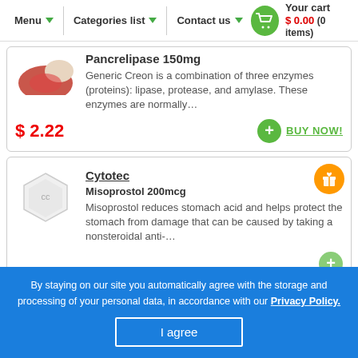Menu ▾   Categories list ▾   Contact us ▾   Your cart $ 0.00 (0 items)
Pancrelipase 150mg
Generic Creon is a combination of three enzymes (proteins): lipase, protease, and amylase. These enzymes are normally…
$ 2.22   BUY NOW!
Cytotec
Misoprostol 200mcg
Misoprostol reduces stomach acid and helps protect the stomach from damage that can be caused by taking a nonsteroidal anti-…
By staying on our site you automatically agree with the storage and processing of your personal data, in accordance with our Privacy Policy.
I agree